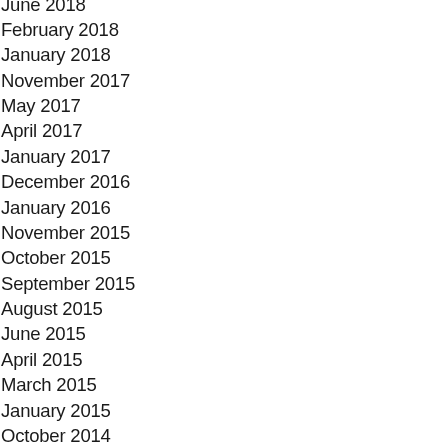June 2018
February 2018
January 2018
November 2017
May 2017
April 2017
January 2017
December 2016
January 2016
November 2015
October 2015
September 2015
August 2015
June 2015
April 2015
March 2015
January 2015
October 2014
August 2014
May 2014